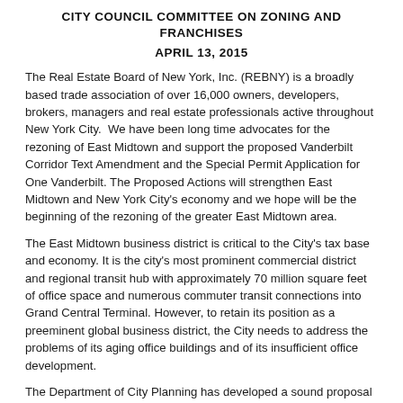CITY COUNCIL COMMITTEE ON ZONING AND FRANCHISES
APRIL 13, 2015
The Real Estate Board of New York, Inc. (REBNY) is a broadly based trade association of over 16,000 owners, developers, brokers, managers and real estate professionals active throughout New York City.  We have been long time advocates for the rezoning of East Midtown and support the proposed Vanderbilt Corridor Text Amendment and the Special Permit Application for One Vanderbilt. The Proposed Actions will strengthen East Midtown and New York City's economy and we hope will be the beginning of the rezoning of the greater East Midtown area.
The East Midtown business district is critical to the City's tax base and economy. It is the city's most prominent commercial district and regional transit hub with approximately 70 million square feet of office space and numerous commuter transit connections into Grand Central Terminal. However, to retain its position as a preeminent global business district, the City needs to address the problems of its aging office buildings and of its insufficient office development.
The Department of City Planning has developed a sound proposal along the 5-block Vanderbilt Corridor to encourage modern commercial development by allowing more flexibility in the transfer of landmark development rights.
The proposal to create a mechanism to link new development to much